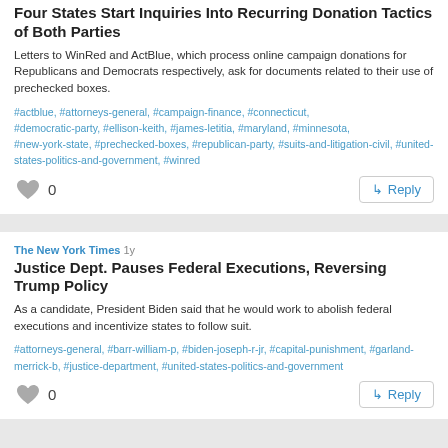Four States Start Inquiries Into Recurring Donation Tactics of Both Parties
Letters to WinRed and ActBlue, which process online campaign donations for Republicans and Democrats respectively, ask for documents related to their use of prechecked boxes.
#actblue, #attorneys-general, #campaign-finance, #connecticut, #democratic-party, #ellison-keith, #james-letitia, #maryland, #minnesota, #new-york-state, #prechecked-boxes, #republican-party, #suits-and-litigation-civil, #united-states-politics-and-government, #winred
The New York Times 1y
Justice Dept. Pauses Federal Executions, Reversing Trump Policy
As a candidate, President Biden said that he would work to abolish federal executions and incentivize states to follow suit.
#attorneys-general, #barr-william-p, #biden-joseph-r-jr, #capital-punishment, #garland-merrick-b, #justice-department, #united-states-politics-and-government